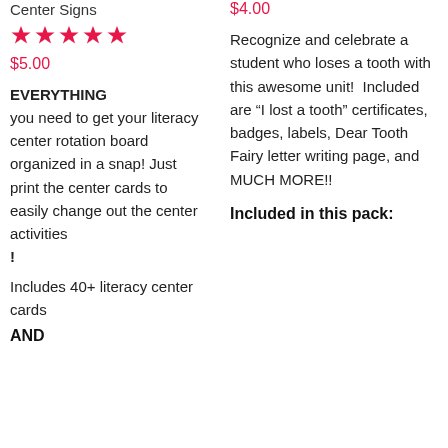Center Signs
[Figure (other): Five pink star rating icons]
$5.00
EVERYTHING you need to get your literacy center rotation board organized in a snap! Just print the center cards to easily change out the center activities !
Includes 40+ literacy center cards
AND
$4.00
Recognize and celebrate a student who loses a tooth with this awesome unit!  Included are “I lost a tooth” certificates, badges, labels, Dear Tooth Fairy letter writing page, and MUCH MORE!!
Included in this pack: